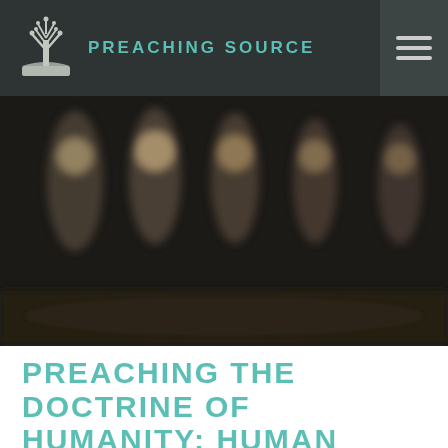PREACHING SOURCE
[Figure (photo): Dark blurred background image showing candles or figures in a dimly lit setting]
PREACHING THE DOCTRINE OF HUMANITY: HUMAN NATURE AND SINFULNESS